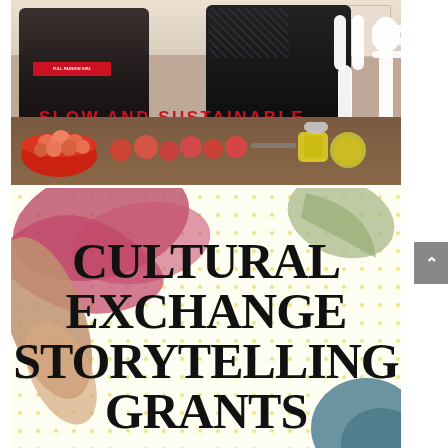[Figure (photo): Two women in a kitchen with cooking aprons. One wears a black apron with red logo text. The other wears a black top with a floral patterned layer. A large white fork/spoon graphic overlays the right side. Text overlay reads 'SLOW AND SUSTAINABLE' in bold red. A red bowl with peaches and other fruits/produce is on the wooden cutting board in front of them.]
[Figure (illustration): Colorful illustrated graphic with abstract organic shapes in pink/maroon, green, brown/tan, and teal. Yellow polka dot background pattern. Bold black text reads 'CULTURAL EXCHANGE STORYTELLING GRANTS' (partially visible, bottom cropped).]
CULTURAL EXCHANGE STORYTELLING GRANTS